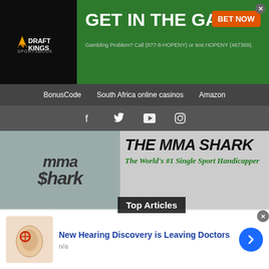[Figure (screenshot): DraftKings Sportsbook advertisement banner: 'GET IN THE GAME' with 'BET NOW' button. Gambling Problem? Call (877-8-HOPENY) or text HOPENY (467369).]
BonusCode   South Africa online casinos   Amazon
[Figure (screenshot): Social media icons: Facebook, Twitter, YouTube, Instagram]
[Figure (logo): The MMA Shark - The World's #1 Single Sport Handicapper logo with shark illustration]
Top Articles
[Figure (screenshot): BetUS advertisement banner with fighter image]
[Figure (screenshot): Sam Creasey yellow promotional image with text 'SAM CREASEY']
Sam Creasey Calls for Shot
[Figure (screenshot): Advertisement: New Hearing Discovery is Leaving Doctors. n/a]
New Hearing Discovery is Leaving Doctors
n/a